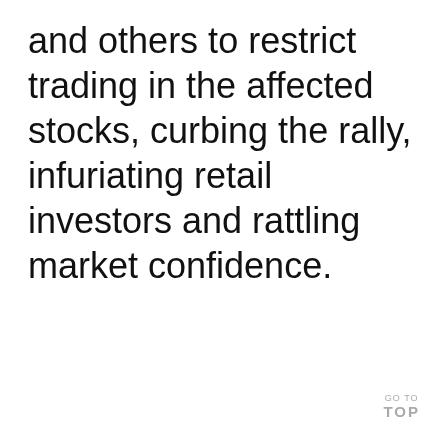and others to restrict trading in the affected stocks, curbing the rally, infuriating retail investors and rattling market confidence.
GO TO TOP